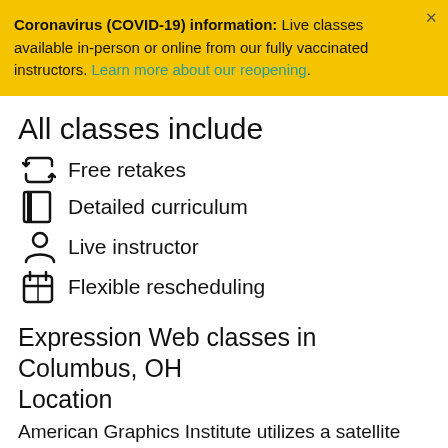Coronavirus (COVID-19) information: Live classes available in-person or online from our fully vaccinated instructors. Learn more about our reopening.
All classes include
Free retakes
Detailed curriculum
Live instructor
Flexible rescheduling
Expression Web classes in Columbus, OH Location
American Graphics Institute utilizes a satellite campus location in Columbus. This location is